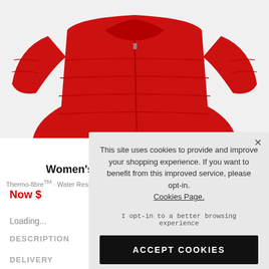[Figure (photo): Red Napapijri women's rainforest winter jacket on light grey background, top portion visible]
NAPAPIJRI
Women's Rainforest Winter Jacket
Thermo-fibre™ · Water Resistant · Recycled Material
Now $
Loading...
DESCRIPTION
DELIVERY
This site uses cookies to provide and improve your shopping experience. If you want to benefit from this improved service, please opt-in. Cookies Page. I opt-in to a better browsing experience
ACCEPT COOKIES